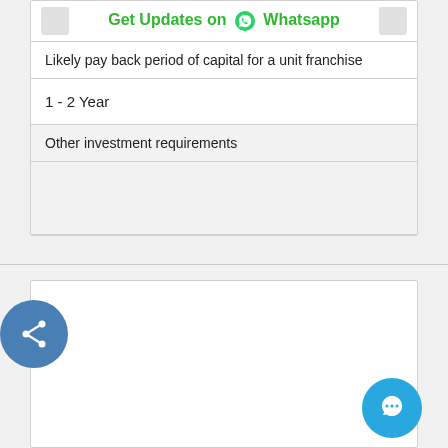Get Updates on Whatsapp
| Likely pay back period of capital for a unit franchise |
| 1 - 2 Year |
| Other investment requirements |
|  |
[Figure (other): Share button (blue circle with share icon) and chat button (blue circle with chat bubble icon)]